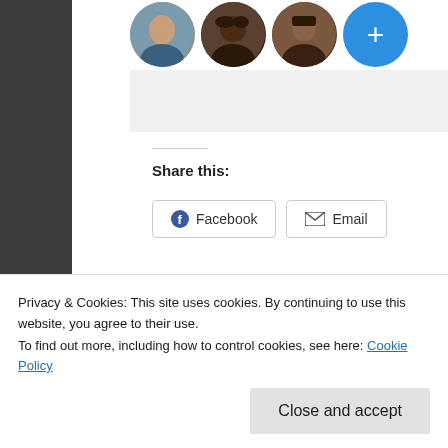[Figure (illustration): Row of circular profile photo avatars (3 person photos and one blue circle with a plus sign) at the top of a social media sharing widget]
REPORT THIS AD
Share this:
Facebook   Email
Like
Be the first to like this.
Search …
Privacy & Cookies: This site uses cookies. By continuing to use this website, you agree to their use.
To find out more, including how to control cookies, see here: Cookie Policy
Close and accept
A swim in the River Dart